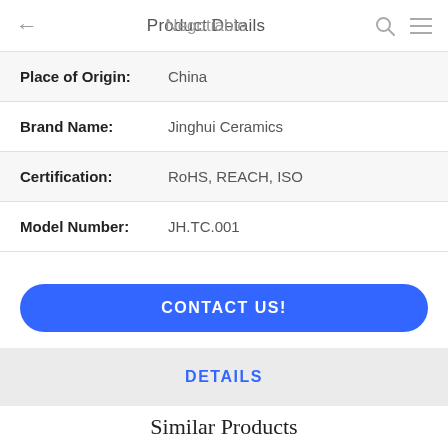Product Details / Negotiable
| Field | Value |
| --- | --- |
| Place of Origin: | China |
| Brand Name: | Jinghui Ceramics |
| Certification: | RoHS, REACH, ISO |
| Model Number: | JH.TC.001 |
CONTACT US!
DETAILS
Similar Products